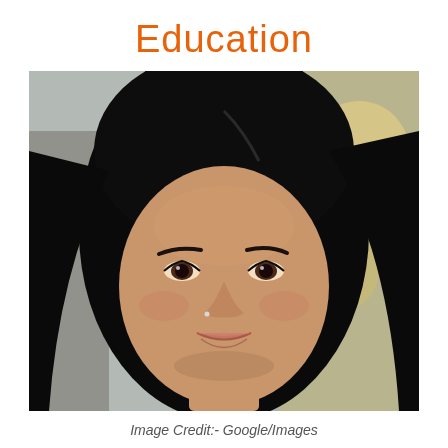Education
[Figure (photo): Portrait photo of a young woman with long black hair, smiling, with a blurred indoor background. She has a nose ring and subtle makeup.]
Image Credit:- Google/Images